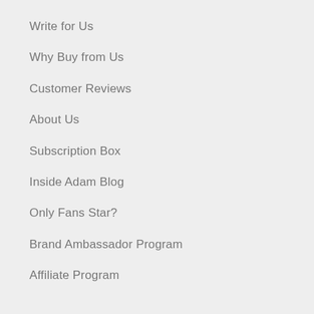Write for Us
Why Buy from Us
Customer Reviews
About Us
Subscription Box
Inside Adam Blog
Only Fans Star?
Brand Ambassador Program
Affiliate Program